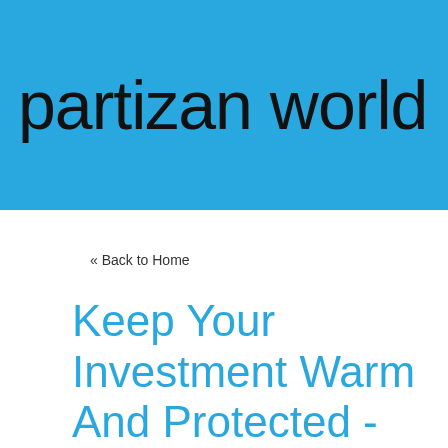partizan world
« Back to Home
Keep Your Investment Warm And Protected - Tips For